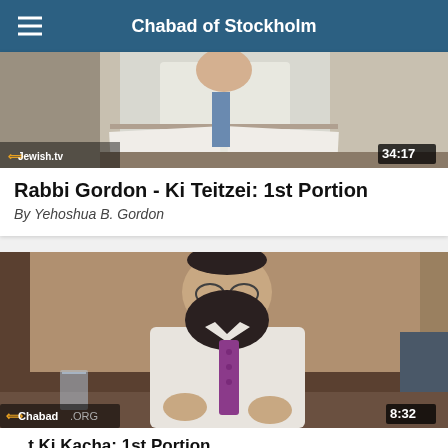Chabad of Stockholm
[Figure (photo): Video thumbnail showing a rabbi sitting at a table with open books, duration 34:17, with Jewish.tv logo]
Rabbi Gordon - Ki Teitzei: 1st Portion
By Yehoshua B. Gordon
[Figure (photo): Video thumbnail showing Rabbi Yehoshua B. Gordon with a beard and purple tie, looking down, duration 8:32, with Chabad.org logo]
...t Ki Kacha: 1st Portion